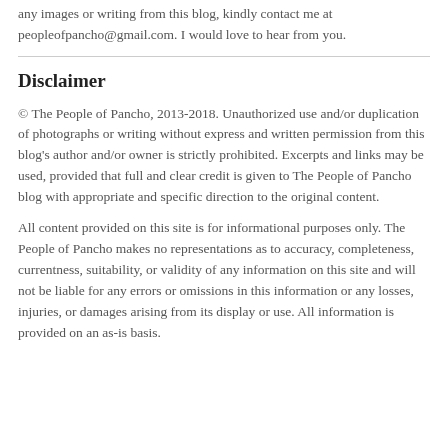any images or writing from this blog, kindly contact me at peopleofpancho@gmail.com. I would love to hear from you.
Disclaimer
© The People of Pancho, 2013-2018. Unauthorized use and/or duplication of photographs or writing without express and written permission from this blog's author and/or owner is strictly prohibited. Excerpts and links may be used, provided that full and clear credit is given to The People of Pancho blog with appropriate and specific direction to the original content.
All content provided on this site is for informational purposes only. The People of Pancho makes no representations as to accuracy, completeness, currentness, suitability, or validity of any information on this site and will not be liable for any errors or omissions in this information or any losses, injuries, or damages arising from its display or use. All information is provided on an as-is basis.